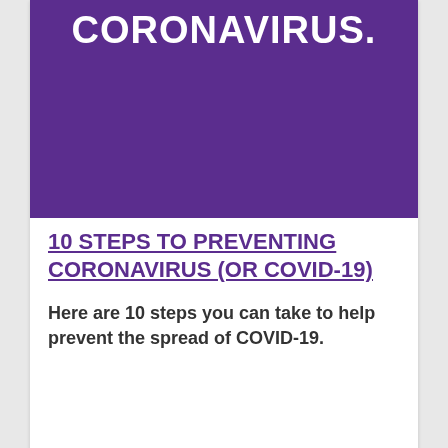[Figure (infographic): Purple banner with white bold text reading CORONAVIRUS. at the top of the card]
10 STEPS TO PREVENTING CORONAVIRUS (OR COVID-19)
Here are 10 steps you can take to help prevent the spread of COVID-19.